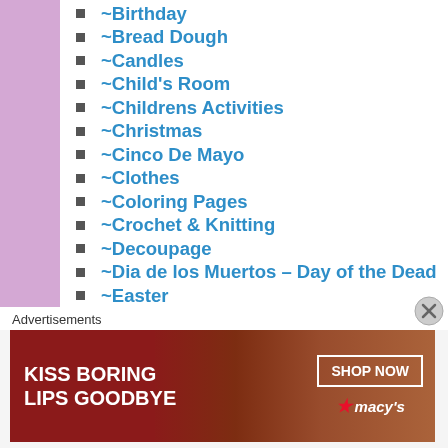~Birthday
~Bread Dough
~Candles
~Child's Room
~Childrens Activities
~Christmas
~Cinco De Mayo
~Clothes
~Coloring Pages
~Crochet & Knitting
~Decoupage
~Dia de los Muertos – Day of the Dead
~Easter
~Edible
~Fall
~Father's Day
~Floral Arrangements
~Fourth Of July
Advertisements
[Figure (photo): Macy's advertisement banner: KISS BORING LIPS GOODBYE with SHOP NOW button and Macy's logo]